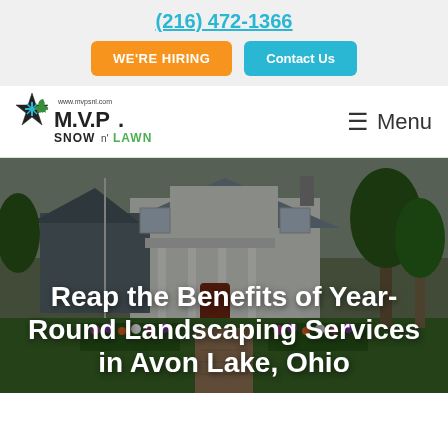(216) 472-1366
WE'RE HIRING
Contact Us
[Figure (logo): MVP Snow n' Lawn logo with snowflake, maple leaf, and star design. Text reads www.mvpsnl.com and M.V.P. SNOW n' LAWN]
Menu
[Figure (photo): A well-manicured front yard of a white house with green lawn, flower beds with colorful flowers, a flagpole, and a brick walkway. Trees visible in background.]
Reap the Benefits of Year-Round Landscaping Services in Avon Lake, Ohio